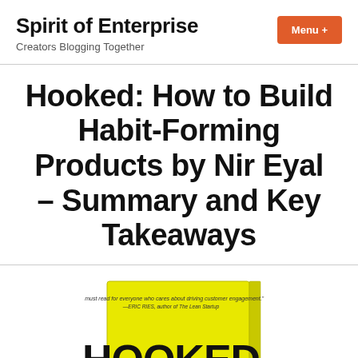Spirit of Enterprise — Creators Blogging Together
Hooked: How to Build Habit-Forming Products by Nir Eyal – Summary and Key Takeaways
[Figure (photo): Book cover of 'Hooked' by Nir Eyal, bright yellow cover with the word HOOKED in large black letters and a brain illustration at the bottom, along with a quote about driving customer engagement.]